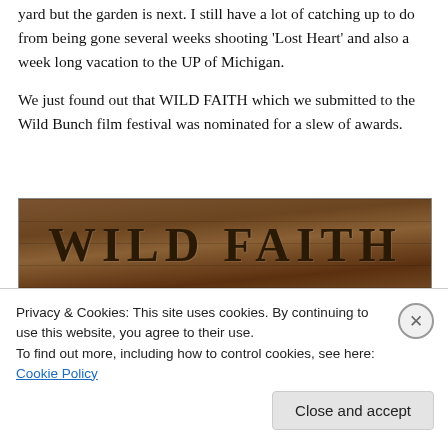yard but the garden is next. I still have a lot of catching up to do from being gone several weeks shooting 'Lost Heart' and also a week long vacation to the UP of Michigan.
We just found out that WILD FAITH which we submitted to the Wild Bunch film festival was nominated for a slew of awards.
[Figure (photo): WILD FAITH film banner on a wood plank background showing three laurel wreath award badges: Best Faith-Based Film, Best Produced Film, Best Feature Film – all from The Wild Bunch FILM FESTIVAL 2019]
Privacy & Cookies: This site uses cookies. By continuing to use this website, you agree to their use.
To find out more, including how to control cookies, see here: Cookie Policy